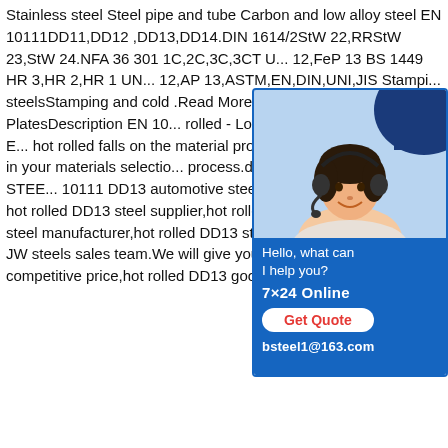Stainless steel Steel pipe and tube Carbon and low alloy steel EN 10111DD11,DD12 ,DD13,DD14.DIN 1614/2StW 22,RRStW 23,StW 24.NFA 36 301 1C,2C,3C,3CT U... 12,FeP 13 BS 1449 HR 3,HR 2,HR 1 UN... 12,AP 13,ASTM,EN,DIN,UNI,JIS Stampi... steelsStamping and cold .Read Moredd1... - Hot Rolled Steel PlatesDescription EN 10... rolled - Low Carbon Steel - See where E... hot rolled falls on the material property ch... Elastic modulus in your materials selectio... process.dd12 dd13 steel - GREET STEE... 10111 DD13 automotive steel - JOIN WI... want to find hot rolled DD13 steel supplier,hot rolled and cold rolled DD13 steel manufacturer,hot rolled DD13 steel exporter,please contact JW steels sales team.We will give you the hot rolled DD13 competitive price,hot rolled DD13 good quality and best
[Figure (illustration): Chat widget with photo of a woman wearing a headset. Blue background with decorative shapes. Below photo: dark blue panel with text 'Hello, what can I help you?', '7×24 Online', a red 'Get Quote' button, and 'bsteel1@163.com'.]